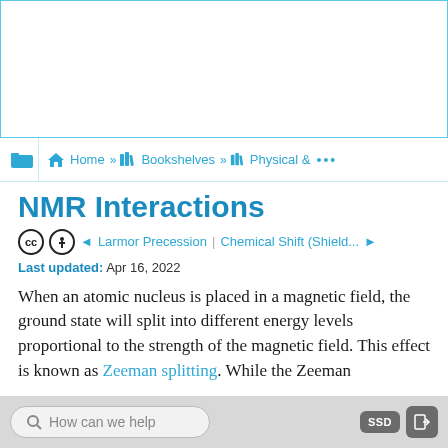[Figure (screenshot): Top banner area with light blue border, empty white content area]
Home » Bookshelves » Physical & ...
NMR Interactions
◄ Larmor Precession | Chemical Shift (Shield... ►
Last updated: Apr 16, 2022
When an atomic nucleus is placed in a magnetic field, the ground state will split into different energy levels proportional to the strength of the magnetic field. This effect is known as Zeeman splitting. While the Zeeman
How can we help